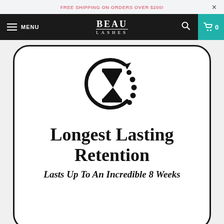FREE SHIPPING ON ORDERS OVER $200!
[Figure (logo): BEAU LASHES logo in white on black navigation bar]
[Figure (illustration): Hourglass with circular arrow and dotted arc, representing longest lasting retention]
Longest Lasting Retention
Lasts Up To An Incredible 8 Weeks